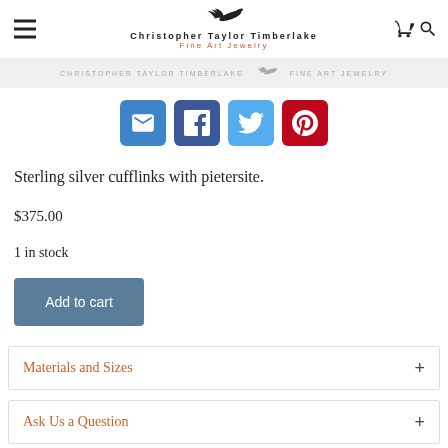CHRISTOPHER TAYLOR TIMBERLAKE FINE ART JEWELRY
[Figure (screenshot): Banner strip showing Christopher Taylor Timberlake Fine Art Jewelry logo text with decorative bird motif]
[Figure (infographic): Social sharing buttons: Email (blue), Facebook (dark blue), Twitter (light blue), Pinterest (red)]
Sterling silver cufflinks with pietersite.
$375.00
1 in stock
Add to cart
Materials and Sizes
Ask Us a Question